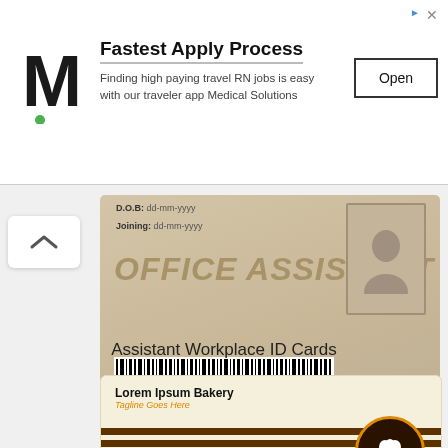[Figure (screenshot): Advertisement banner for Medical Solutions app: M logo on left, headline 'Fastest Apply Process', subtext 'Finding high paying travel RN jobs is easy with our traveler app Medical Solutions', and an 'Open' button on the right. Arrow icons in top-right corner.]
[Figure (photo): Partial view of an Office Assistant workplace ID card showing: D.O.B and Joining fields with dd-mm-yyyy placeholders, 'OFFICE ASSISTANT' title in large italic text, a barcode strip, and a silhouette photo placeholder on the right.]
Assistant Workplace ID Cards
[Figure (illustration): Bakery employee ID card template: 'Lorem Ipsum Bakery' with orange tagline 'Tagline Goes Here', brown horizontal stripe band with circular chef badge logo on right, hexagonal photo placeholder on left, 'Name Surname' in bold, 'Bakery Employee' in orange, fields: ID No: 00AB4321, D.O.B: dd-mm-yyyy, Phone: +1 555 456 9870]